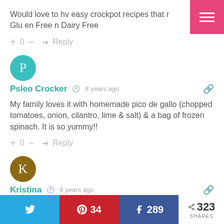Would love to hv easy crockpot recipes that r Gluten Free n Dairy Free
+ 0 — → Reply
[Figure (other): Teal circle avatar with letter P for Psleo Crocker]
Psleo Crocker  🕐 8 years ago
My family loves it with homemade pico de gallo (chopped tomatoes, onion, cilantro, lime & salt) & a bag of frozen spinach. It is so yummy!!
+ 0 — → Reply
[Figure (other): Brown circle avatar with letter K for Kristina]
Kristina  🕐 8 years ago
Twitter share, Pinterest 34, Facebook 289, 323 SHARES